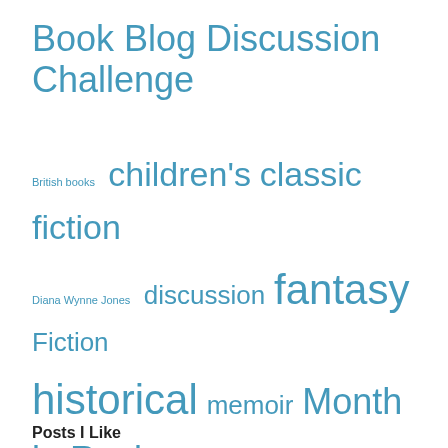Book Blog Discussion Challenge
British books  children's  classic fiction  Diana Wynne Jones  discussion  fantasy  Fiction  historical  memoir  Month in Review  mystery  nonfiction  Nonfiction November  Reading New England  reviews  Robertson Davies  spirituality  The Classics Club  Top Ten Tuesday
Posts I Like